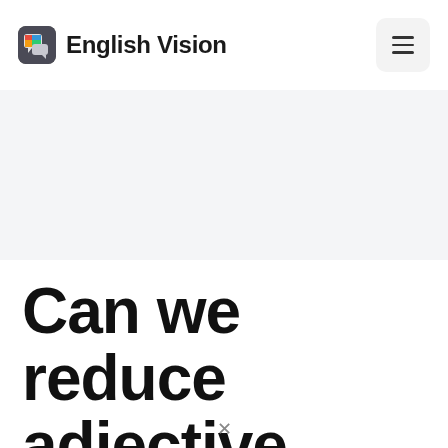English Vision
[Figure (other): Gray banner/hero area placeholder]
Can we reduce adjective clause